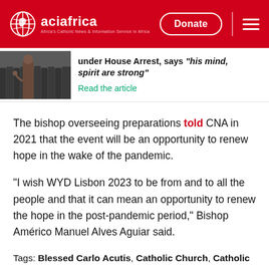aciafrica — Donate — menu
[Figure (photo): Partial article teaser with photo of people in uniform and headline 'under House Arrest, says his mind, spirit are strong"']
under House Arrest, says "his mind, spirit are strong"
Read the article
The bishop overseeing preparations told CNA in 2021 that the event will be an opportunity to renew hope in the wake of the pandemic.
“I wish WYD Lisbon 2023 to be from and to all the people and that it can mean an opportunity to renew the hope in the post-pandemic period,” Bishop Américo Manuel Alves Aguiar said.
Tags: Blessed Carlo Acutis, Catholic Church, Catholic News, Lisbon, Patron, Pope St. John Paul II, Portugal,